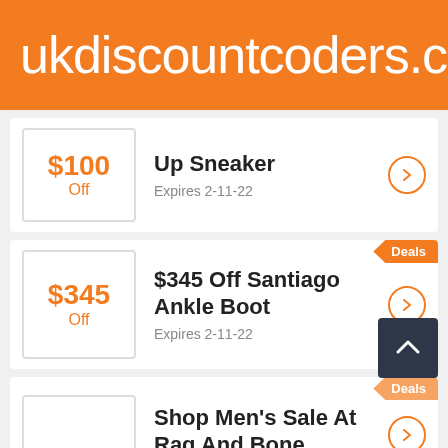ukdiscountcoders.c
$100 Off — Up Sneaker — Expires 2-11-22
$345 Off — $345 Off Santiago Ankle Boot — Expires 2-11-22
Shop Men's Sale At Rag And Bone